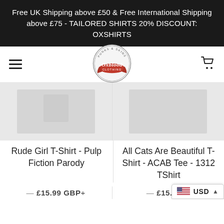Free UK Shipping above £50 & Free International Shipping above £75 - TAILORED SHIRTS 20% DISCOUNT: OXSHIRTS
[Figure (logo): Oxblood Clothing circular logo with 'Punks & Skins' text around the top, 'Oxblood' in red script in the center, and 'Clothing' at the bottom, with a red banner element.]
[Figure (photo): Product image placeholder for Rude Girl T-Shirt - Pulp Fiction Parody, showing a light gray product image area.]
Rude Girl T-Shirt - Pulp Fiction Parody
— £15.99 GBP+
[Figure (photo): Product image placeholder for All Cats Are Beautiful T-Shirt - ACAB Tee - 1312 TShirt, showing a light gray product image area.]
All Cats Are Beautiful T-Shirt - ACAB Tee - 1312 TShirt
— £15.99 G